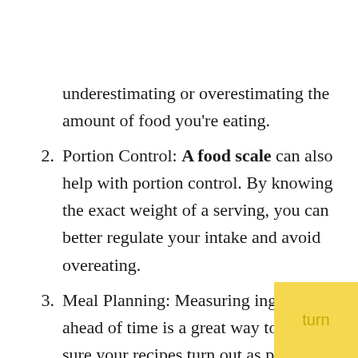underestimating or overestimating the amount of food you're eating.
2. Portion Control: A food scale can also help with portion control. By knowing the exact weight of a serving, you can better regulate your intake and avoid overeating.
3. Meal Planning: Measuring ingredients ahead of time is a great way to make sure your recipes turn out as planned. A food scale can